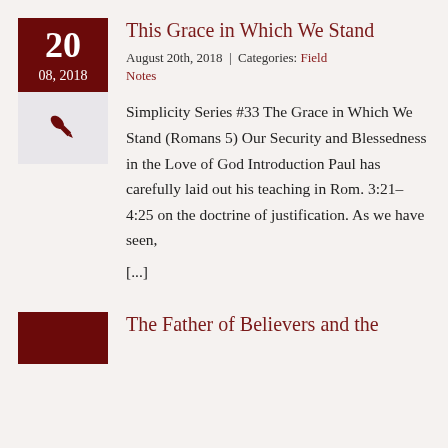This Grace in Which We Stand
August 20th, 2018 | Categories: Field Notes
Simplicity Series #33 The Grace in Which We Stand (Romans 5) Our Security and Blessedness in the Love of God Introduction Paul has carefully laid out his teaching in Rom. 3:21–4:25 on the doctrine of justification. As we have seen, [...]
The Father of Believers and the